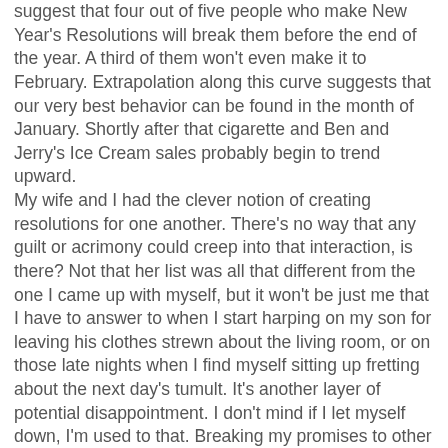suggest that four out of five people who make New Year's Resolutions will break them before the end of the year. A third of them won't even make it to February. Extrapolation along this curve suggests that our very best behavior can be found in the month of January. Shortly after that cigarette and Ben and Jerry's Ice Cream sales probably begin to trend upward.
My wife and I had the clever notion of creating resolutions for one another. There's no way that any guilt or acrimony could creep into that interaction, is there? Not that her list was all that different from the one I came up with myself, but it won't be just me that I have to answer to when I start harping on my son for leaving his clothes strewn about the living room, or on those late nights when I find myself sitting up fretting about the next day's tumult. It's another layer of potential disappointment. I don't mind if I let myself down, I'm used to that. Breaking my promises to other people is a different matter entirely.
I have a pretty good idea about how to make promises that I can keep. Start with little things and try not to make a fuss about the courage of your conviction to be a decent person. Others tend to frown upon the idea that you have to work at